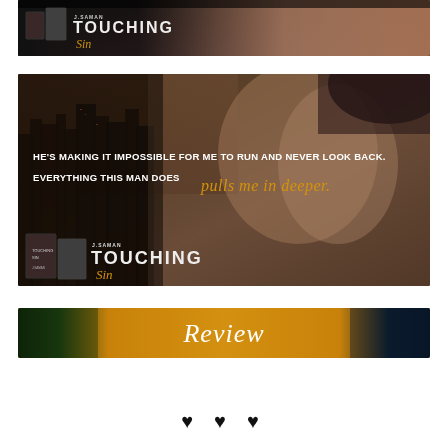[Figure (illustration): Book cover promotional banner for 'Touching Sin' by J. Saman. Dark background with two book covers on the left and the title text. Background appears to show a figure or dark romantic imagery.]
[Figure (illustration): Promotional teaser image for 'Touching Sin' by J. Saman. Shows a couple in an intimate pose against a city skyline background. Text reads: 'HE'S MAKING IT IMPOSSIBLE FOR ME TO RUN AND NEVER LOOK BACK.' and 'EVERYTHING THIS MAN DOES pulls me in deeper.' Book covers shown in bottom left with author name and title.]
[Figure (illustration): Review banner image with orange/golden background and city imagery. Center text reads 'Review' in white cursive script.]
♥ ♥ ♥